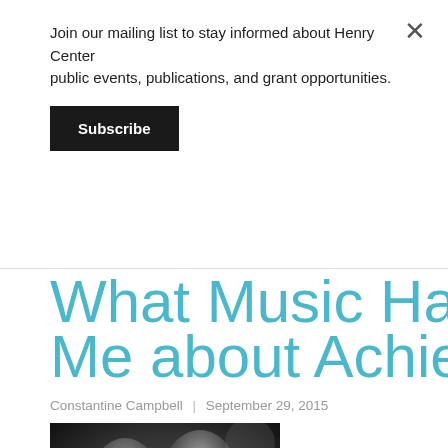Join our mailing list to stay informed about Henry Center public events, publications, and grant opportunities.
Subscribe
What Music Has Taught Me about Achievement
Constantine Campbell | September 29, 2015
[Figure (photo): Black and white photograph of two jazz musicians playing instruments (trumpet/saxophone)]
Last week I began to reflect on "achievement" through the l...